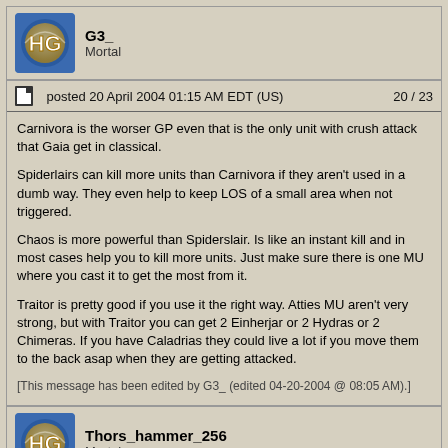G3_
Mortal
posted 20 April 2004 01:15 AM EDT (US)   20 / 23
Carnivora is the worser GP even that is the only unit with crush attack that Gaia get in classical.

Spiderlairs can kill more units than Carnivora if they aren't used in a dumb way. They even help to keep LOS of a small area when not triggered.

Chaos is more powerful than Spiderslair. Is like an instant kill and in most cases help you to kill more units. Just make sure there is one MU where you cast it to get the most from it.

Traitor is pretty good if you use it the right way. Atties MU aren't very strong, but with Traitor you can get 2 Einherjar or 2 Hydras or 2 Chimeras. If you have Caladrias they could live a lot if you move them to the back asap when they are getting attacked.

[This message has been edited by G3_ (edited 04-20-2004 @ 08:05 AM).]
Thors_hammer_256
Mortal
posted 20 April 2004 02:09 AM EDT (US)   21 / 23